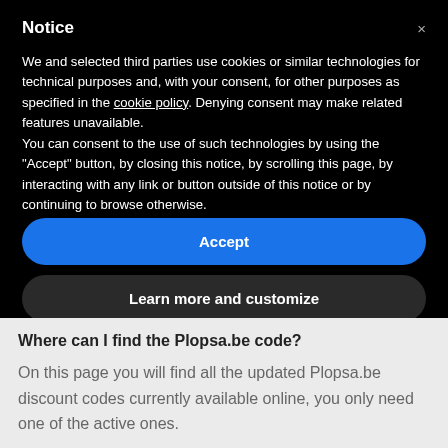Notice
We and selected third parties use cookies or similar technologies for technical purposes and, with your consent, for other purposes as specified in the cookie policy. Denying consent may make related features unavailable.
You can consent to the use of such technologies by using the "Accept" button, by closing this notice, by scrolling this page, by interacting with any link or button outside of this notice or by continuing to browse otherwise.
Accept
Learn more and customize
Where can I find the Plopsa.be code?
On this page you will find all the updated Plopsa.be discount codes currently available online, you only need one of the active ones.